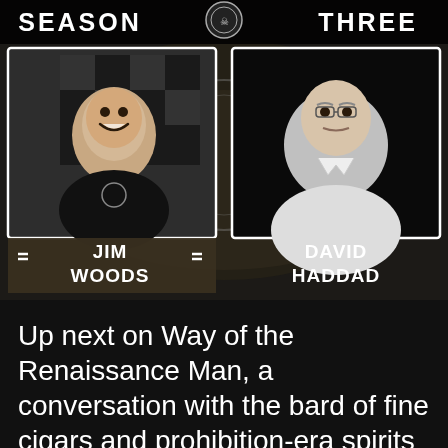[Figure (screenshot): Video thumbnail for 'Way of the Renaissance Man Season Three' episode featuring Jim Woods and David Haddad. Shows two video call panels side by side against a dark background with a cigar/logo graphic. Text overlay reads 'SEASON THREE' at top. Bottom left shows Jim Woods (smiling man in black shirt) with name label '≡ JIM WOODS ≡'. Bottom right shows David Haddad (older man in white shirt) with name label 'DAVID HADDAD'.]
Up next on Way of the Renaissance Man, a conversation with the bard of fine cigars and prohibition-era spirits